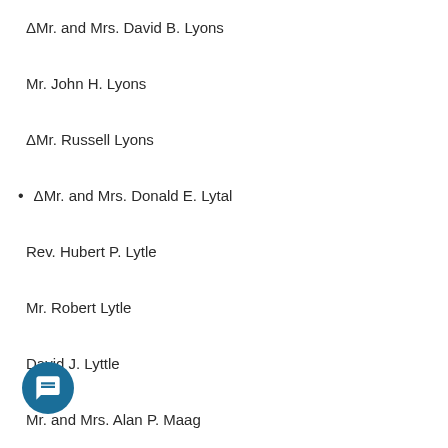ΔMr. and Mrs. David B. Lyons
Mr. John H. Lyons
ΔMr. Russell Lyons
ΔMr. and Mrs. Donald E. Lytal
Rev. Hubert P. Lytle
Mr. Robert Lytle
David J. Lyttle
Mr. and Mrs. Alan P. Maag
Ms. Sondra Mabry